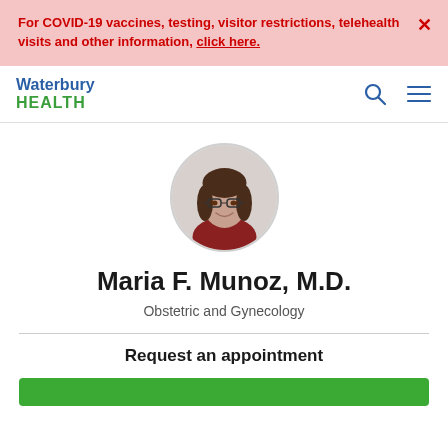For COVID-19 vaccines, testing, visitor restrictions, telehealth visits and other information, click here.
[Figure (logo): Waterbury HEALTH logo with blue Waterbury text and green HEALTH text]
[Figure (photo): Circular headshot of Dr. Maria F. Munoz, a woman with glasses and dark hair, wearing a red top, smiling]
Maria F. Munoz, M.D.
Obstetric and Gynecology
Request an appointment